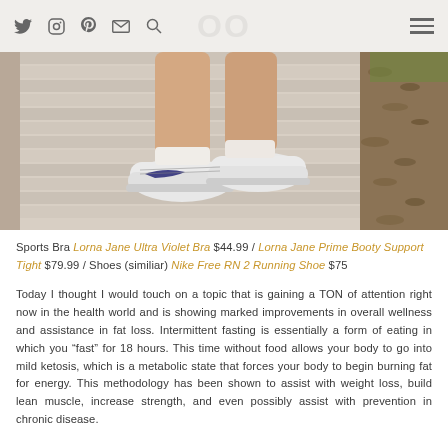Social media navigation bar with icons: Twitter, Instagram, Pinterest, Email, Search, and hamburger menu
[Figure (photo): Photo of person's legs wearing Nike Free RN 2 running shoes and white sneakers, sitting on what appears to be outdoor steps or a bench, with mulch/leaves visible in background]
Sports Bra Lorna Jane Ultra Violet Bra $44.99 / Lorna Jane Prime Booty Support Tight $79.99 / Shoes (similiar) Nike Free RN 2 Running Shoe $75
Today I thought I would touch on a topic that is gaining a TON of attention right now in the health world and is showing marked improvements in overall wellness and assistance in fat loss. Intermittent fasting is essentially a form of eating in which you “fast” for 18 hours. This time without food allows your body to go into mild ketosis, which is a metabolic state that forces your body to begin burning fat for energy. This methodology has been shown to assist with weight loss, build lean muscle, increase strength, and even possibly assist with prevention in chronic disease.